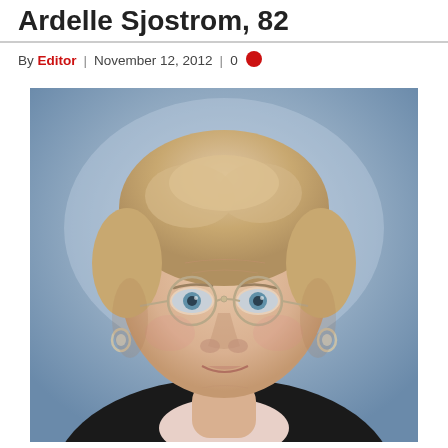Ardelle Sjostrom, 82
By Editor | November 12, 2012 | 0
[Figure (photo): Portrait photo of an elderly woman with short light-colored hair, wearing glasses with round frames and small hoop earrings, against a blue-grey studio background.]